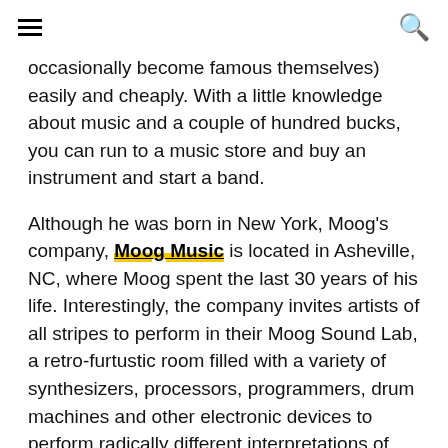≡  🔍
occasionally become famous themselves) easily and cheaply. With a little knowledge about music and a couple of hundred bucks, you can run to a music store and buy an instrument and start a band.
Although he was born in New York, Moog's company, Moog Music is located in Asheville, NC, where Moog spent the last 30 years of his life. Interestingly, the company invites artists of all stripes to perform in their Moog Sound Lab, a retro-furtustic room filled with a variety of synthesizers, processors, programmers, drum machines and other electronic devices to perform radically different interpretations of the artist's material.
The folks at Moog and Moog Sound Lab invited the